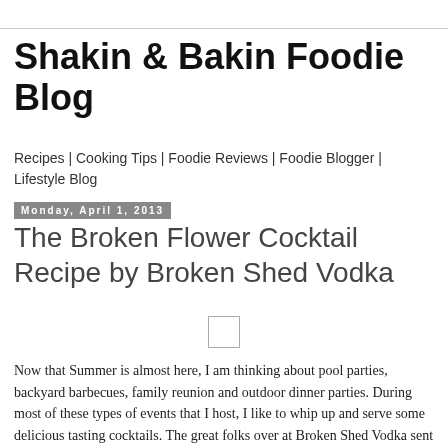Shakin & Bakin Foodie Blog
Recipes | Cooking Tips | Foodie Reviews | Foodie Blogger | Lifestyle Blog
Monday, April 1, 2013
The Broken Flower Cocktail Recipe by Broken Shed Vodka
[Figure (other): Image placeholder icon]
Now that Summer is almost here, I am thinking about pool parties, backyard barbecues, family reunion and outdoor dinner parties. During most of these types of events that I host, I like to whip up and serve some delicious tasting cocktails. The great folks over at Broken Shed Vodka sent over this yummy looking cocktail recipe for me to share with